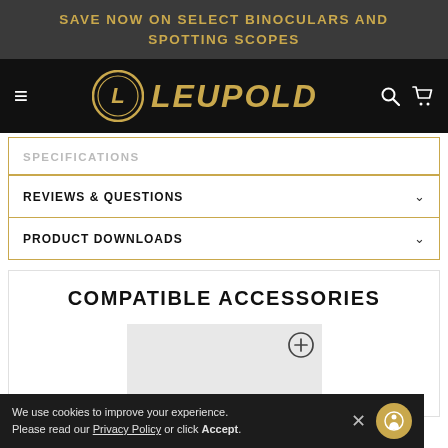SAVE NOW ON SELECT BINOCULARS AND SPOTTING SCOPES
[Figure (logo): Leupold brand logo with circular emblem and italic gold text LEUPOLD on black navigation bar]
SPECIFICATIONS
REVIEWS & QUESTIONS
PRODUCT DOWNLOADS
COMPATIBLE ACCESSORIES
[Figure (photo): Light grey product image card placeholder with a plus/add circle icon in top right corner]
We use cookies to improve your experience. Please read our Privacy Policy or click Accept.